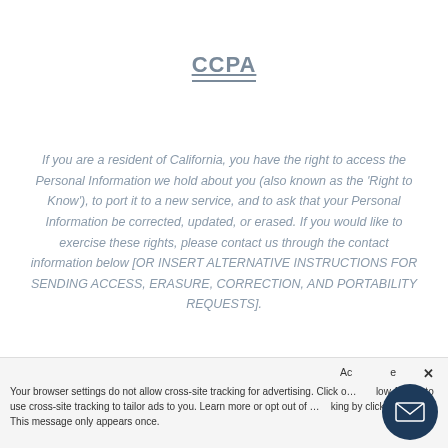CCPA
If you are a resident of California, you have the right to access the Personal Information we hold about you (also known as the 'Right to Know'), to port it to a new service, and to ask that your Personal Information be corrected, updated, or erased. If you would like to exercise these rights, please contact us through the contact information below [OR INSERT ALTERNATIVE INSTRUCTIONS FOR SENDING ACCESS, ERASURE, CORRECTION, AND PORTABILITY REQUESTS].
Your browser settings do not allow cross-site tracking for advertising. Click on … to allow AdRoll to use cross-site tracking to tailor ads to you. Learn more or opt out of … tracking by clicking here. This message only appears once.